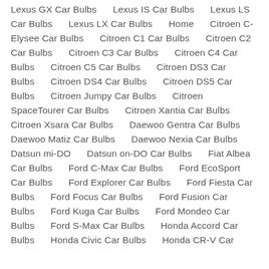Lexus GX Car Bulbs      Lexus IS Car Bulbs      Lexus LS Car Bulbs      Lexus LX Car Bulbs      Home      Citroen C-Elysee Car Bulbs      Citroen C1 Car Bulbs      Citroen C2 Car Bulbs      Citroen C3 Car Bulbs      Citroen C4 Car Bulbs      Citroen C5 Car Bulbs      Citroen DS3 Car Bulbs      Citroen DS4 Car Bulbs      Citroen DS5 Car Bulbs      Citroen Jumpy Car Bulbs      Citroen SpaceTourer Car Bulbs      Citroen Xantia Car Bulbs      Citroen Xsara Car Bulbs      Daewoo Gentra Car Bulbs      Daewoo Matiz Car Bulbs      Daewoo Nexia Car Bulbs      Datsun mi-DO      Datsun on-DO Car Bulbs      Fiat Albea Car Bulbs      Ford C-Max Car Bulbs      Ford EcoSport Car Bulbs      Ford Explorer Car Bulbs      Ford Fiesta Car Bulbs      Ford Focus Car Bulbs      Ford Fusion Car Bulbs      Ford Kuga Car Bulbs      Ford Mondeo Car Bulbs      Ford S-Max Car Bulbs      Honda Accord Car Bulbs      Honda Civic Car Bulbs      Honda CR-V Car...